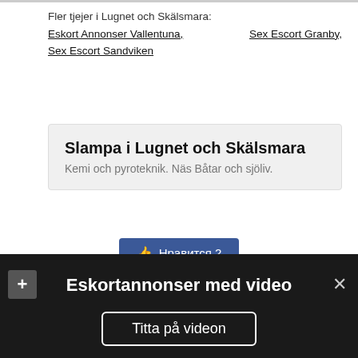Fler tjejer i Lugnet och Skälsmara: Eskort Annonser Vallentuna, Sex Escort Granby, Sex Escort Sandviken
Slampa i Lugnet och Skälsmara
Kemi och pyroteknik. Näs Båtar och sjöliv.
[Figure (other): Facebook Like button showing 'Нравится 2']
Hem
Län
Sex dejting
Site map
Sexguide
Sex chat
Eskortannonser med video
Titta på videon